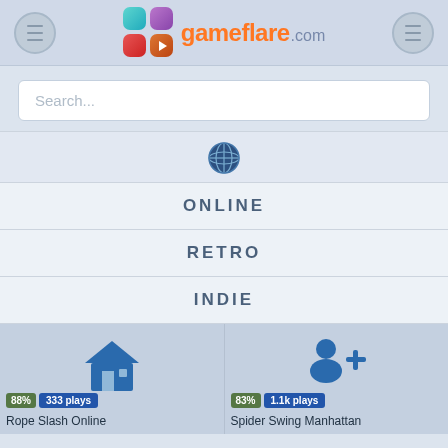[Figure (logo): Gameflare.com logo with colorful cubes and orange text]
Search...
[Figure (illustration): Globe icon]
ONLINE
RETRO
INDIE
[Figure (illustration): House icon for Rope Slash Online game card]
88%  333 plays
Rope Slash Online
[Figure (illustration): Person with plus icon for Spider Swing Manhattan game card]
83%  1.1k plays
Spider Swing Manhattan